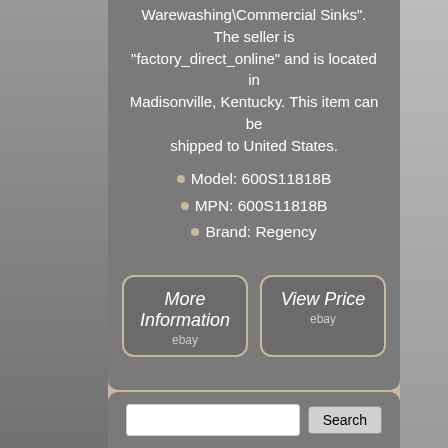Warewashing\Commercial Sinks". The seller is "factory_direct_online" and is located in Madisonville, Kentucky. This item can be shipped to United States.
Model: 600S11818B
MPN: 600S11818B
Brand: Regency
[Figure (other): More Information button linking to eBay]
[Figure (other): View Price button linking to eBay]
[Figure (other): Social sharing icons: Facebook, Twitter, Pinterest, Email]
[Figure (other): Search bar with Search button at bottom]